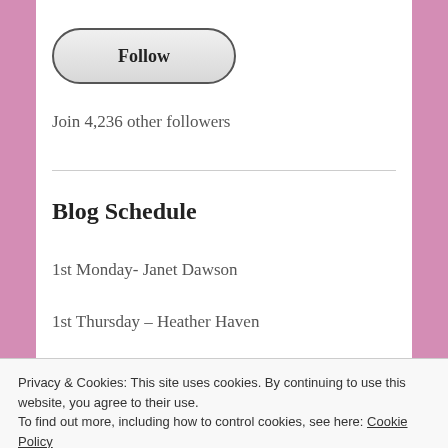[Figure (other): Follow button — rounded rectangle button with bold text 'Follow']
Join 4,236 other followers
Blog Schedule
1st Monday- Janet Dawson
1st Thursday – Heather Haven
Privacy & Cookies: This site uses cookies. By continuing to use this website, you agree to their use.
To find out more, including how to control cookies, see here: Cookie Policy
Close and accept
2nd Saturday – Missye Clarke